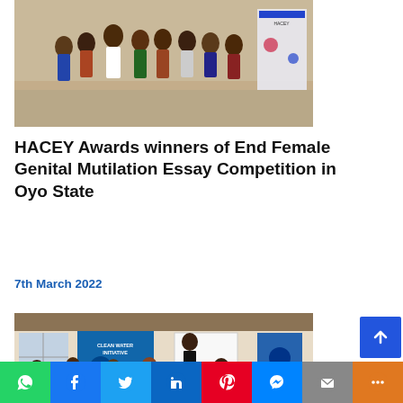[Figure (photo): Group photo of people standing at what appears to be an awards event, with banners and displays in the background.]
HACEY Awards winners of End Female Genital Mutilation Essay Competition in Oyo State
7th March 2022
[Figure (photo): Indoor meeting or workshop scene with people seated around tables, a Clean Water Initiative banner visible, and a presenter standing at the front near a whiteboard.]
Technique For Stakeholder Engagement
WhatsApp | Facebook | Twitter | LinkedIn | Pinterest | Messenger | Mail | More